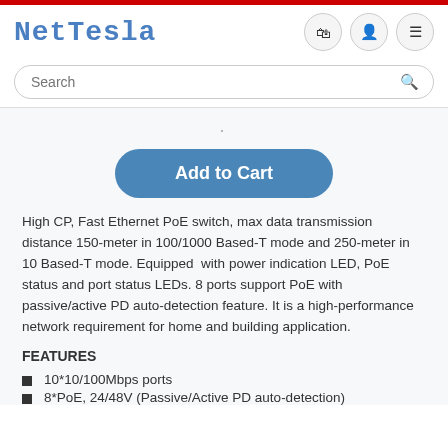NetTesla
Search
[Figure (screenshot): Add to Cart button - blue rounded rectangle]
High CP, Fast Ethernet PoE switch, max data transmission distance 150-meter in 100/1000 Based-T mode and 250-meter in 10 Based-T mode. Equipped with power indication LED, PoE status and port status LEDs. 8 ports support PoE with passive/active PD auto-detection feature. It is a high-performance network requirement for home and building application.
FEATURES
10*10/100Mbps ports
8*PoE, 24/48V (Passive/Active PD auto-detection)